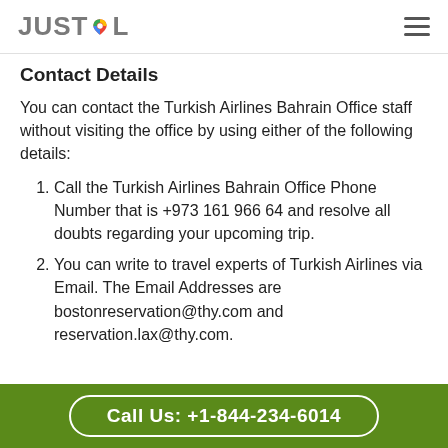JUSTCOL
Contact Details
You can contact the Turkish Airlines Bahrain Office staff without visiting the office by using either of the following details:
Call the Turkish Airlines Bahrain Office Phone Number that is +973 161 966 64 and resolve all doubts regarding your upcoming trip.
You can write to travel experts of Turkish Airlines via Email. The Email Addresses are  bostonreservation@thy.com and reservation.lax@thy.com.
Call Us: +1-844-234-6014